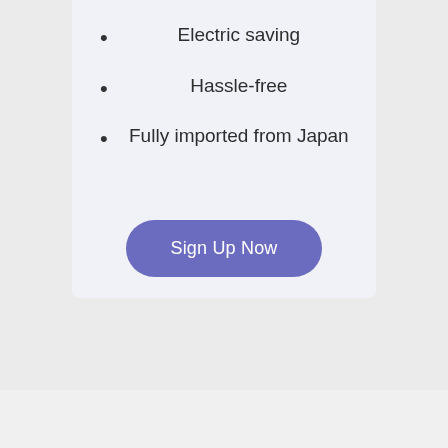Electric saving
Hassle-free
Fully imported from Japan
Sign Up Now